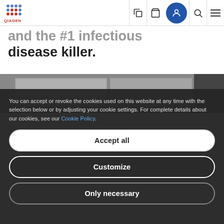QIAGEN navigation bar with logo, cart, user account, search, and menu icons
and the #1 infectious disease killer.
[Figure (photo): Partial view of a computer monitor or laboratory screen in a medical/scientific setting]
You can accept or revoke the cookies used on this website at any time with the selection below or by adjusting your cookie settings. For complete details about our cookies, see our Cookie Policy.
Accept all
Customize
Only necessary